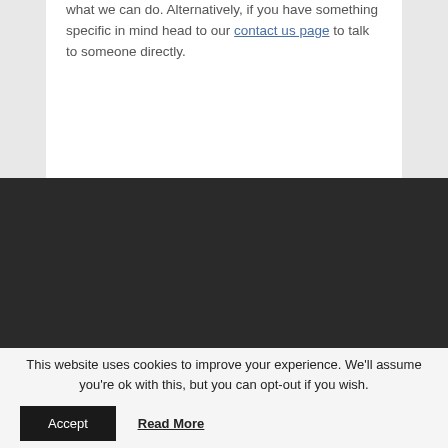what we can do. Alternatively, if you have something specific in mind head to our contact us page to talk to someone directly.
This website uses cookies to improve your experience. We'll assume you're ok with this, but you can opt-out if you wish.